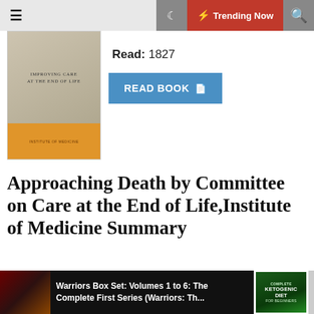☰   🌙  ⚡ Trending Now  🔍
[Figure (illustration): Book cover for 'Approaching Death: Improving Care at the End of Life' with beige/tan cover and orange bottom stripe]
Read: 1827
READ BOOK
Approaching Death by Committee on Care at the End of Life,Institute of Medicine Summary
When the end of life makes its inevitable appearance, people should be able to expect reliable, humane, and effective caregiving. Yet too many dying people suffer unnecessarily. While an "overtreated" dying is feared, untreated pain or emotional abandonment are equally frightening. Approaching Death reflects a wide-ranging effort to understand what we know about care at the end of life, what we have yet to learn, and what we know but do
Warriors Box Set: Volumes 1 to 6: The Complete First Series (Warriors: Th...   COMPLETE KETOGENIC DIET FOR BEGINNERS